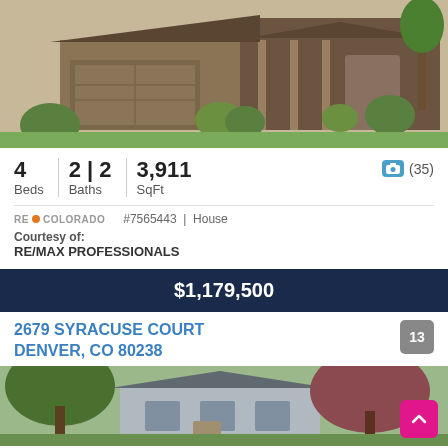[Figure (photo): Exterior photo of a single-story house with attached two-car garage, covered front porch, stone and wood siding, landscaped front yard]
4 Beds | 2 | 2 Baths | 3,911 SqFt
📷 (35)
RE🟠COLORADO #7565443 | House
Courtesy of:
RE/MAX PROFESSIONALS
$1,179,500
2679 SYRACUSE COURT
DENVER, CO 80238
[Figure (photo): Exterior photo of a two-story house with trees in foreground, grey siding]